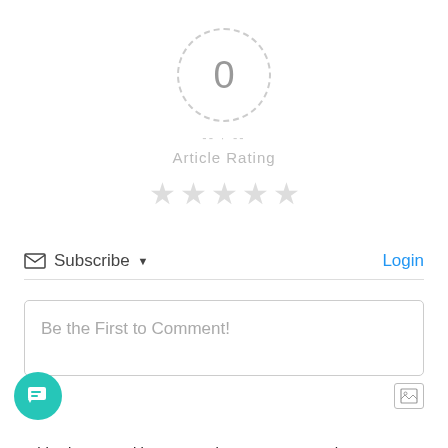[Figure (infographic): Article rating widget showing score 0 in a dashed circle, with dashed horizontal lines on either side, label 'Article Rating', and five empty star icons below]
Subscribe ▾
Login
Be the First to Comment!
[Figure (other): Image upload icon button]
This site uses Akismet to reduce spam. Learn how your comment data is processed.
[Figure (other): Green circular chat/support button in bottom-left corner]